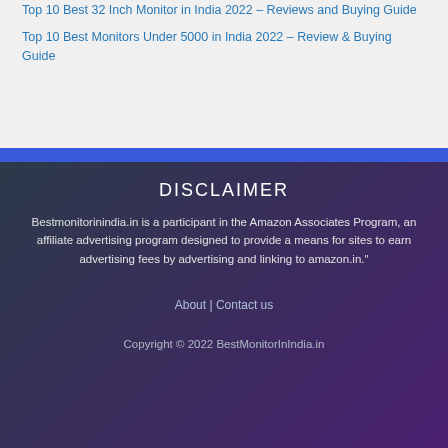Top 10 Best 32 Inch Monitor in India 2022 – Reviews and Buying Guide
Top 10 Best Monitors Under 5000 in India 2022 – Review & Buying Guide
DISCLAIMER
Bestmonitorinindia.in is a participant in the Amazon Associates Program, an affiliate advertising program designed to provide a means for sites to earn advertising fees by advertising and linking to amazon.in."
About | Contact us
Copyright © 2022 BestMonitorInIndia.in